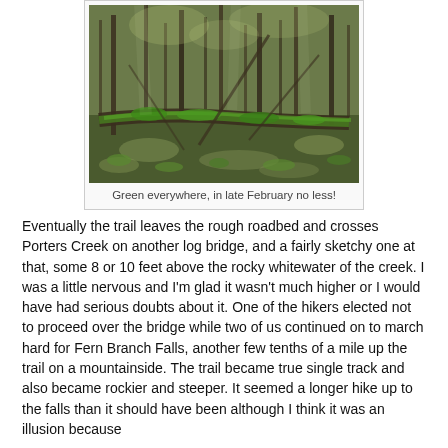[Figure (photo): Forest scene with mossy fallen log on ground, tall thin tree trunks, dappled sunlight on forest floor covered in small green plants, taken in late February.]
Green everywhere, in late February no less!
Eventually the trail leaves the rough roadbed and crosses Porters Creek on another log bridge, and a fairly sketchy one at that, some 8 or 10 feet above the rocky whitewater of the creek. I was a little nervous and I'm glad it wasn't much higher or I would have had serious doubts about it. One of the hikers elected not to proceed over the bridge while two of us continued on to march hard for Fern Branch Falls, another few tenths of a mile up the trail on a mountainside. The trail became true single track and also became rockier and steeper. It seemed a longer hike up to the falls than it should have been although I think it was an illusion because